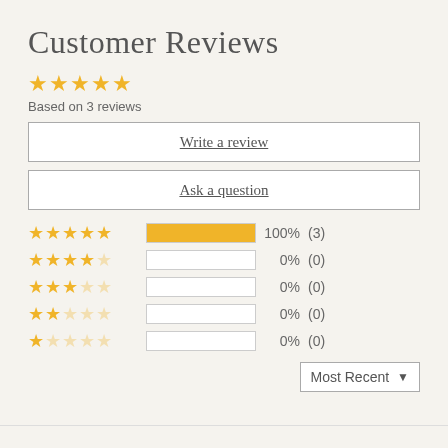Customer Reviews
[Figure (other): 5 filled gold stars rating display]
Based on 3 reviews
Write a review
Ask a question
| Stars | Bar | Percent | Count |
| --- | --- | --- | --- |
| 5 stars | 100% | 100% | (3) |
| 4 stars | 0% | 0% | (0) |
| 3 stars | 0% | 0% | (0) |
| 2 stars | 0% | 0% | (0) |
| 1 star | 0% | 0% | (0) |
Most Recent ▼